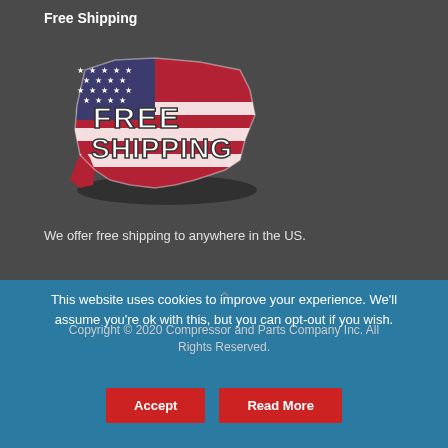Free Shipping
[Figure (illustration): USA map silhouette with American flag pattern (red, white, blue stripes and stars) with text 'FREE SHIPPING' overlaid in bold white/italic font]
We offer free shipping to anywhere in the US.
Copyright © 2020 Compressor and Parts Company Inc. All Rights Reserved.
This website uses cookies to improve your experience. We'll assume you're ok with this, but you can opt-out if you wish.